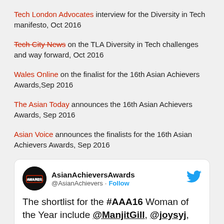Tech London Advocates interview for the Diversity in Tech manifesto, Oct 2016
Tech City News on the TLA Diversity in Tech challenges and way forward, Oct 2016
Wales Online on the finalist for the 16th Asian Achievers Awards,Sep 2016
The Asian Today announces the 16th Asian Achievers Awards, Sep 2016
Asian Voice announces the finalists for the 16th Asian Achievers Awards, Sep 2016
[Figure (screenshot): Embedded tweet from @AsianAchievers: 'The shortlist for the #AAA16 Woman of the Year include @ManjitGill, @joysyj, Manjit Wolstenholme and @PunaKentoria']